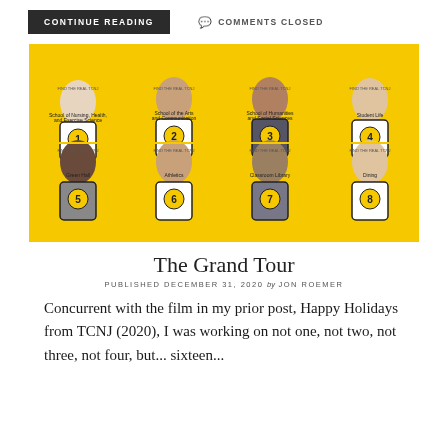CONTINUE READING
COMMENTS CLOSED
[Figure (photo): A yellow-background promotional image showing 16 TCNJ students numbered 1-16, each representing different schools or campus areas such as School of Nursing Health and Exercise Science, School of the Arts and Communication, School of Humanities and Social Sciences, Student Life, Green Hall, Athletics, Classroom Library, Dining, Campus Living First Year Experience, Sophomore and Upperclass Living, School of Education, School of Engineering, School of Science, School of Business, Campus Tour, and Navigate Online.]
The Grand Tour
PUBLISHED DECEMBER 31, 2020 by JON ROEMER
Concurrent with the film in my prior post, Happy Holidays from TCNJ (2020), I was working on not one, not two, not three, not four, but... sixteen...